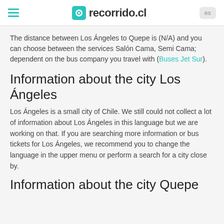recorrido.cl
The distance between Los Ángeles to Quepe is (N/A) and you can choose between the services Salón Cama, Semi Cama; dependent on the bus company you travel with (Buses Jet Sur).
Information about the city Los Ángeles
Los Ángeles is a small city of Chile. We still could not collect a lot of information about Los Ángeles in this language but we are working on that. If you are searching more information or bus tickets for Los Ángeles, we recommend you to change the language in the upper menu or perform a search for a city close by.
Information about the city Quepe